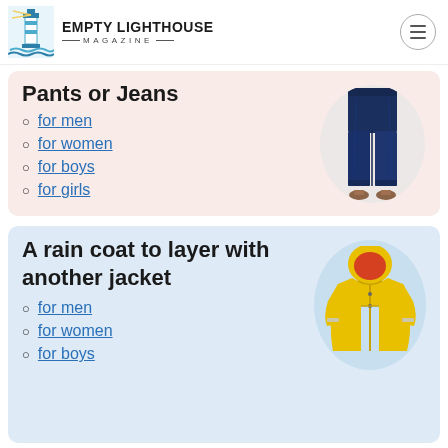EMPTY LIGHTHOUSE MAGAZINE
Pants or Jeans
for men
for women
for boys
for girls
[Figure (photo): Woman wearing dark blue skinny jeans]
A rain coat to layer with another jacket
for men
for women
for boys
[Figure (photo): Yellow children's rain jacket/coat]